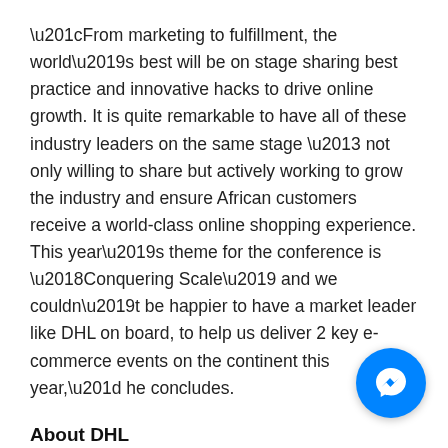“From marketing to fulfillment, the world’s best will be on stage sharing best practice and innovative hacks to drive online growth. It is quite remarkable to have all of these industry leaders on the same stage – not only willing to share but actively working to grow the industry and ensure African customers receive a world-class online shopping experience. This year’s theme for the conference is ‘Conquering Scale’ and we couldn’t be happier to have a market leader like DHL on board, to help us deliver 2 key e-commerce events on the continent this year,” he concludes.
About DHL
DHL is one of the leading global brands in the logistics industry. DHL family of divisions offer an unrivalled portfolio of logistics services ranging from national and international parcel delivery, e-commerce shipping and fulfillment
[Figure (other): Facebook Messenger chat bubble button, blue circle with white lightning bolt / messenger icon]